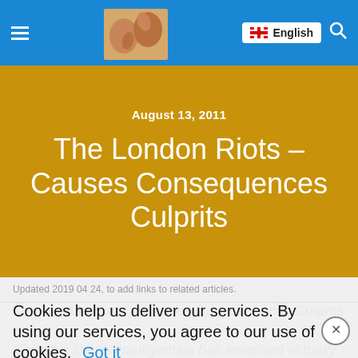≡  [logo image]  English  🔍
August 13, 2011
The London Riots – Causes Consequences Culprits
Updated 2019 04 24, to add links to related articles.
The London Riots – Causes Consequences Culprits • "Britain's liberal intelligentsia has smashed virtually every social value"
Cookies help us deliver our services. By using our services, you agree to our use of cookies. Got it